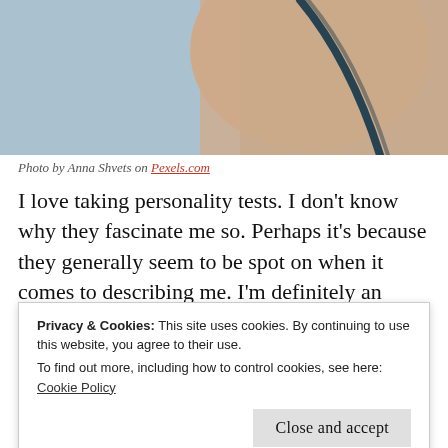[Figure (photo): Close-up photograph of a person from behind, showing skin and a dark strap, against a light blue background.]
Photo by Anna Shvets on Pexels.com
I love taking personality tests. I don't know why they fascinate me so. Perhaps it's because they generally seem to be spot on when it comes to describing me. I'm definitely an introvert, but only in the sense that when I become exhausted I have to refuel by spending quiet time...
Privacy & Cookies: This site uses cookies. By continuing to use this website, you agree to their use.
To find out more, including how to control cookies, see here:
Cookie Policy
to be the life of the party again.